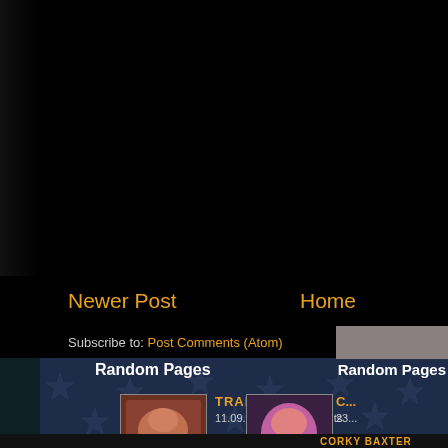Newer Post
Home
Subscribe to: Post Comments (Atom)
Random Pages
TRAINERS
11.09.2018 - 0 Comments
...
Random Pages
C...
23...
...
[Figure (photo): Comic book page thumbnail - TRAINERS]
[Figure (photo): Comic book page thumbnail - partial, right side]
[Figure (illustration): Comic book mural background with superhero characters and star-spangled pattern]
CORKY BAXTER